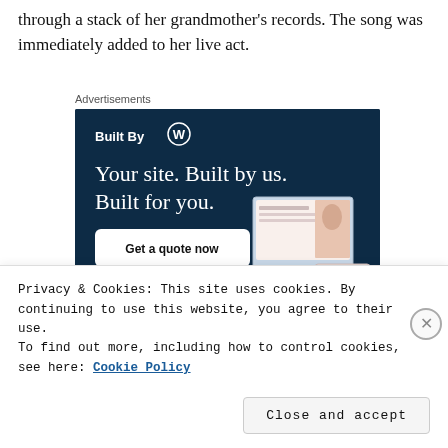through a stack of her grandmother's records. The song was immediately added to her live act.
Advertisements
[Figure (illustration): WordPress 'Built By' advertisement banner with dark navy background. Shows WordPress logo, tagline 'Your site. Built by us. Built for you.', a 'Get a quote now' button, and mockup screenshots of a website with fashion imagery.]
Privacy & Cookies: This site uses cookies. By continuing to use this website, you agree to their use.
To find out more, including how to control cookies, see here: Cookie Policy